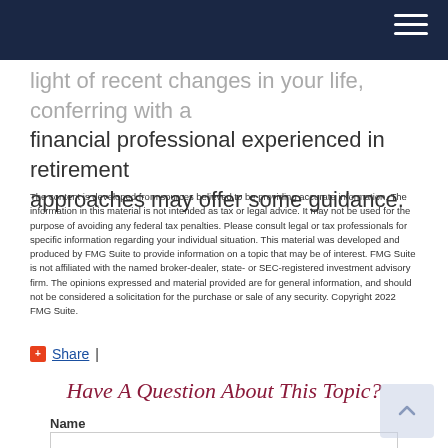Navigation bar
light of recent changes in your life, conferring with a financial professional experienced in retirement approaches may offer some guidance.
The content is developed from sources believed to be providing accurate information. The information in this material is not intended as tax or legal advice. It may not be used for the purpose of avoiding any federal tax penalties. Please consult legal or tax professionals for specific information regarding your individual situation. This material was developed and produced by FMG Suite to provide information on a topic that may be of interest. FMG Suite is not affiliated with the named broker-dealer, state- or SEC-registered investment advisory firm. The opinions expressed and material provided are for general information, and should not be considered a solicitation for the purchase or sale of any security. Copyright 2022 FMG Suite.
Share |
Have A Question About This Topic?
Name